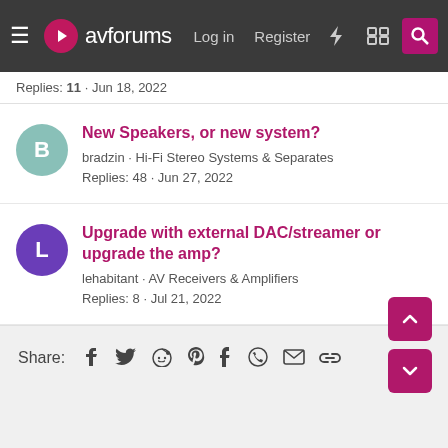avforums | Log in | Register
Replies: 11 · Jun 18, 2022
New Speakers, or new system?
bradzin · Hi-Fi Stereo Systems & Separates
Replies: 48 · Jun 27, 2022
Upgrade with external DAC/streamer or upgrade the amp?
lehabitant · AV Receivers & Amplifiers
Replies: 8 · Jul 21, 2022
Share: